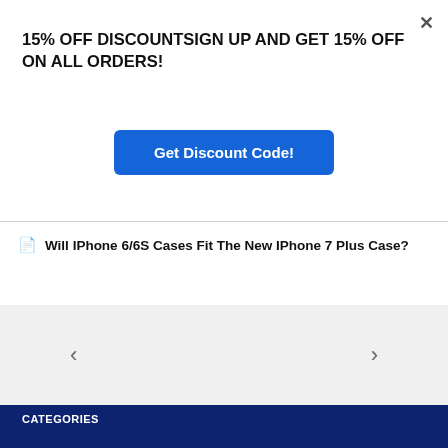× (close button)
15% OFF DISCOUNTSIGN UP AND GET 15% OFF ON ALL ORDERS!
Get Discount Code!
📄 Will IPhone 6/6S Cases Fit The New IPhone 7 Plus Case?
[Figure (other): Carousel navigation section with left and right arrow buttons on a light grey background]
CATEGORIES
Blog
News